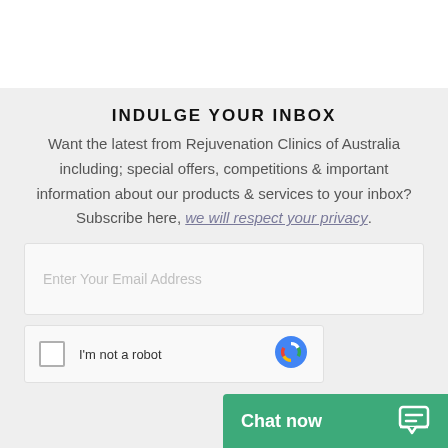INDULGE YOUR INBOX
Want the latest from Rejuvenation Clinics of Australia including; special offers, competitions & important information about our products & services to your inbox? Subscribe here, we will respect your privacy.
[Figure (screenshot): Email subscription form with an email input field placeholder 'Enter Your Email Address']
[Figure (screenshot): reCAPTCHA widget with checkbox and 'I'm not a robot' label]
[Figure (screenshot): Green 'Chat now' button with chat icon at bottom right]